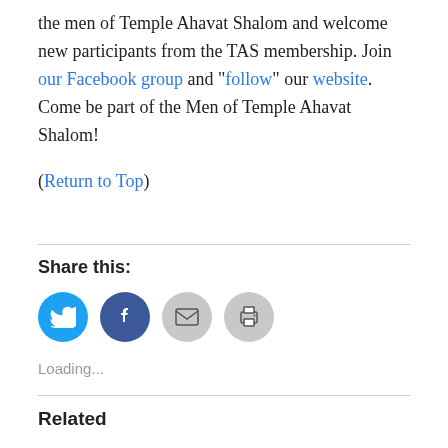the men of Temple Ahavat Shalom and welcome new participants from the TAS membership. Join our Facebook group and "follow" our website. Come be part of the Men of Temple Ahavat Shalom!
(Return to Top)
Share this:
[Figure (infographic): Row of four circular social share buttons: Twitter (blue), Facebook (blue), Email (grey), Print (grey)]
Loading...
Related